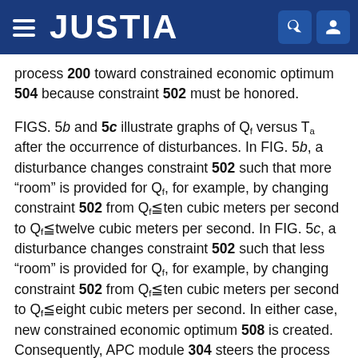JUSTIA
process 200 toward constrained economic optimum 504 because constraint 502 must be honored.
FIGS. 5b and 5c illustrate graphs of Qf versus Ta after the occurrence of disturbances. In FIG. 5b, a disturbance changes constraint 502 such that more “room” is provided for Qf, for example, by changing constraint 502 from Qf≦ten cubic meters per second to Qf≦twelve cubic meters per second. In FIG. 5c, a disturbance changes constraint 502 such that less “room” is provided for Qf, for example, by changing constraint 502 from Qf≦ten cubic meters per second to Qf≦eight cubic meters per second. In either case, new constrained economic optimum 508 is created. Consequently, APC module 304 steers the process toward new constrained economic optimum 508 as described below. For brevity, the procedure for steering the process towards new